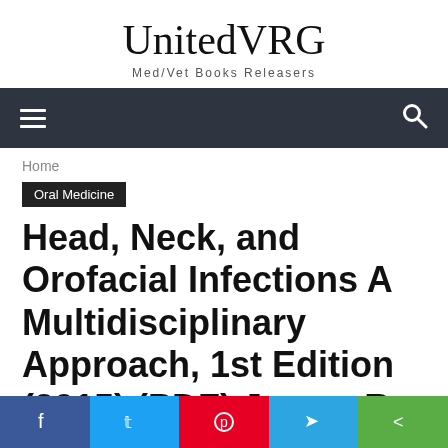UnitedVRG
Med/Vet Books Releasers
[Figure (screenshot): Dark navigation bar with hamburger menu icon on left and search icon on right]
Home
Oral Medicine
Head, Neck, and Orofacial Infections A Multidisciplinary Approach, 1st Edition (2015) (PDF) James R. Hupp
110
[Figure (screenshot): Social share bar with Facebook, Twitter, Pinterest, Telegram, and share buttons]